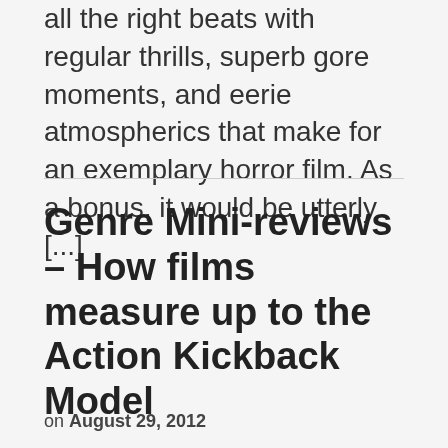all the right beats with regular thrills, superb gore moments, and eerie atmospherics that make for an exemplary horror film. As a bonus, it would be utterly [...]
Genre Mini-reviews – How films measure up to the Action Kickback Model
on August 29, 2012